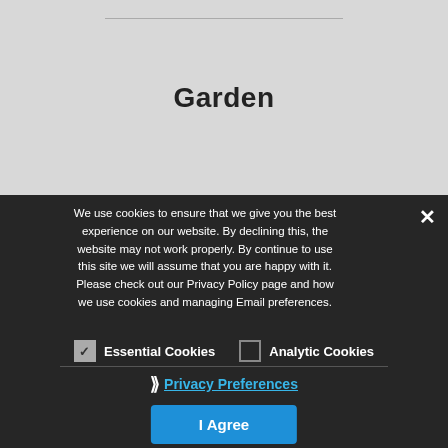Garden
We use cookies to ensure that we give you the best experience on our website. By declining this, the website may not work properly. By continue to use this site we will assume that you are happy with it. Please check out our Privacy Policy page and how we use cookies and managing Email preferences.
Essential Cookies (checked), Analytic Cookies (unchecked)
› Privacy Preferences
I Agree